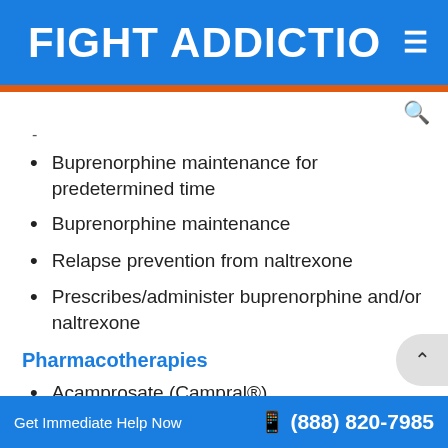FIGHT ADDICTIO ≡
-
Buprenorphine maintenance for predetermined time
Buprenorphine maintenance
Relapse prevention from naltrexone
Prescribes/administer buprenorphine and/or naltrexone
Pharmacotherapies
Acamprosate (Campral®)
Get Immediate Help Now  (888) 820-7985